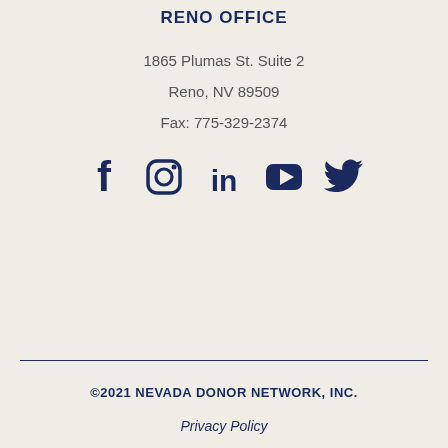RENO OFFICE
1865 Plumas St. Suite 2
Reno, NV 89509
Fax: 775-329-2374
[Figure (illustration): Social media icons: Facebook, Instagram, LinkedIn, YouTube, Twitter in dark navy blue]
©2021 NEVADA DONOR NETWORK, INC.
Privacy Policy